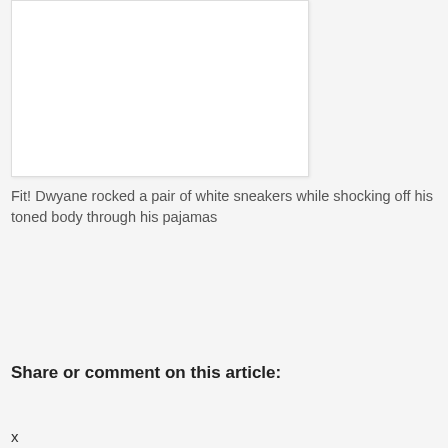[Figure (photo): White rectangular photo placeholder box, partially visible at top of page]
Fit! Dwyane rocked a pair of white sneakers while shocking off his toned body through his pajamas
Share or comment on this article:
x